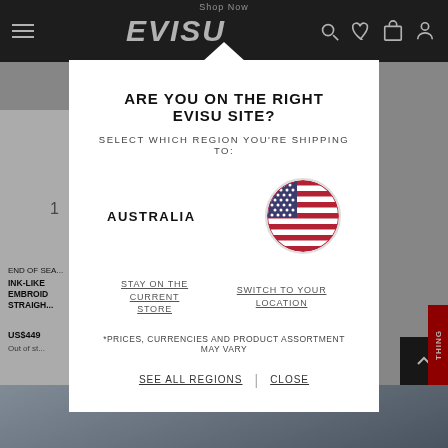EVISU | Shop Now
[Figure (screenshot): EVISU e-commerce website header with hamburger menu, EVISU logo in italic white text, and icons for search, wishlist, cart, and account on dark background]
1
END OF SEA
INK-LIKE EMBROI STRAIG
US$449
Out of st
ARE YOU ON THE RIGHT EVISU SITE?
SELECT WHICH REGION YOU'RE SHIPPING TO:
AUSTRALIA
[Figure (illustration): Circular US flag icon]
STAY ON THE CURRENT STORE
SWITCH TO YOUR LOCATION
*PRICES, CURRENCIES AND PRODUCT ASSORTMENT MAY VARY
SEE ALL REGIONS | CLOSE